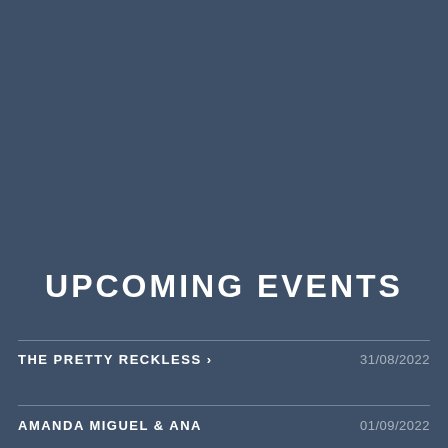UPCOMING EVENTS
THE PRETTY RECKLESS ›   31/08/2022
AMANDA MIGUEL & ANA   01/09/2022